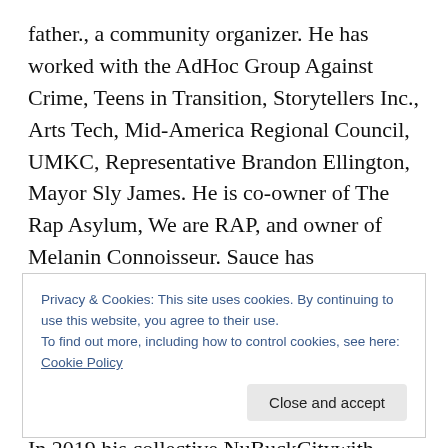father., a community organizer. He has worked with the AdHoc Group Against Crime, Teens in Transition, Storytellers Inc., Arts Tech, Mid-America Regional Council, UMKC, Representative Brandon Ellington, Mayor Sly James. He is co-owner of The Rap Asylum, We are RAP, and owner of Melanin Connoisseur. Sauce has collaborated with visual artists, and the hip hop community. In 2017 Sauce released his EP, Summer Sauce which was part of WMM's 117 Best Recordings of 2017. In 2018 Sauce released his album Soul Food 4. In 2019 his collective NuBuckCitywith Kartoz Marcel, Mac C
Privacy & Cookies: This site uses cookies. By continuing to use this website, you agree to their use.
To find out more, including how to control cookies, see here: Cookie Policy